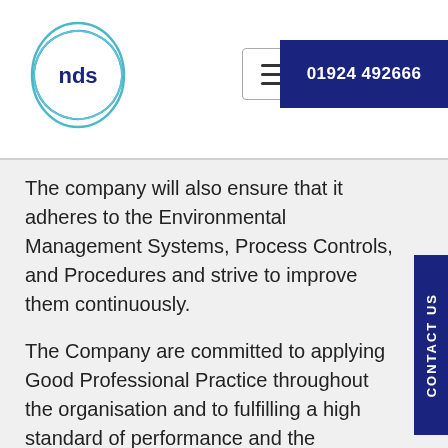[Figure (logo): NDS company logo: circular design with overlapping ellipses in teal/blue, with 'nds' text in dark navy bold inside]
The company will also ensure that it adheres to the Environmental Management Systems, Process Controls, and Procedures and strive to improve them continuously.
The Company are committed to applying Good Professional Practice throughout the organisation and to fulfilling a high standard of performance and the expectations of its customers.
All staff must familiarise themselves and regularly update themselves on the requirements of environmental management and are required to take a